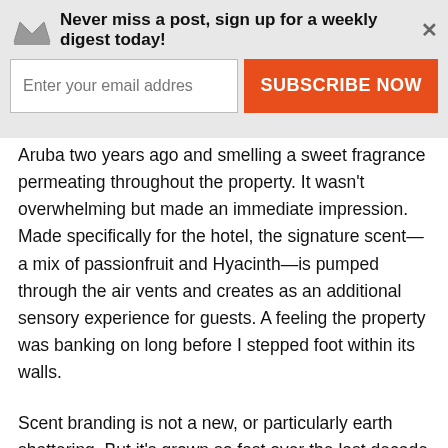Never miss a post, sign up for a weekly digest today! | Enter your email addres | SUBSCRIBE NOW
Aruba two years ago and smelling a sweet fragrance permeating throughout the property. It wasn't overwhelming but made an immediate impression. Made specifically for the hotel, the signature scent—a mix of passionfruit and Hyacinth—is pumped through the air vents and creates as an additional sensory experience for guests. A feeling the property was banking on long before I stepped foot within its walls.
Scent branding is not a new, or particularly earth shattering. But it's grown so fast over the last decade that it's basically a norm now for hoteliers to offer signature scents from Day 1. Take for example, The Bernic Hotel in Midtown Manhattan. It opens on July 15 but has already established its signature scent: white tea and fig.